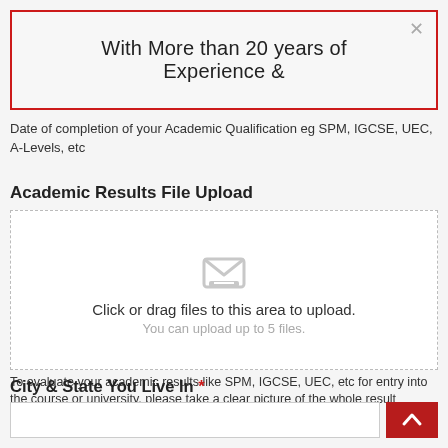With More than 20 years of Experience &
Date of completion of your Academic Qualification eg SPM, IGCSE, UEC, A-Levels, etc
Academic Results File Upload
[Figure (screenshot): File upload drop zone with inbox/envelope icon. Text: 'Click or drag files to this area to upload.' and 'You can upload up to 5 files.']
To evaluate your academic results like SPM, IGCSE, UEC, etc for entry into the course or university, please take a clear picture of the whole result certificate (don't cut out any part like name or IC) and upload here
City & State You Live In *